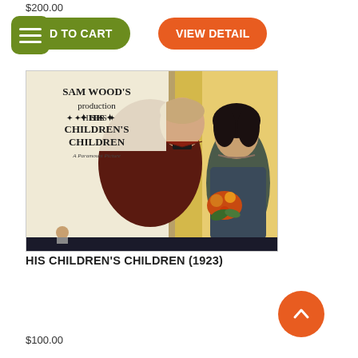$200.00
D TO CART
VIEW DETAIL
[Figure (photo): Movie lobby card for 'His Children's Children' (1923), a Sam Wood production / Paramount Picture. Shows a man in a dark suit and bow tie viewed from behind, opening a door to a woman holding flowers.]
HIS CHILDREN'S CHILDREN (1923)
$100.00